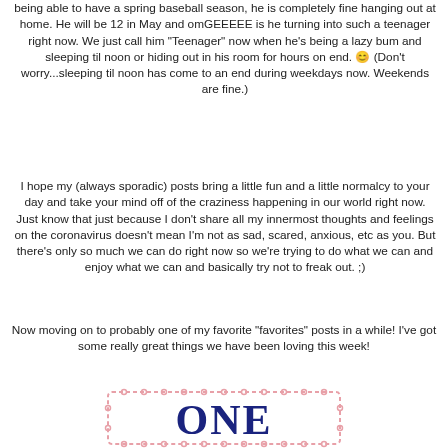being able to have a spring baseball season, he is completely fine hanging out at home.  He will be 12 in May and omGEEEEE is he turning into such a teenager right now.  We just call him "Teenager" now when he's being a lazy bum and sleeping til noon or hiding out in his room for hours on end. 😊  (Don't worry...sleeping til noon has come to an end during weekdays now.  Weekends are fine.)
I hope my (always sporadic) posts bring a little fun and a little normalcy to your day and take your mind off of the craziness happening in our world right now.  Just know that just because I don't share all my innermost thoughts and feelings on the coronavirus doesn't mean I'm not as sad, scared, anxious, etc as you.  But there's only so much we can do right now so we're trying to do what we can and enjoy what we can and basically try not to freak out. ;)
Now moving on to probably one of my favorite "favorites" posts in a while! I've got some really great things we have been loving this week!
[Figure (logo): Decorative logo with letters ONE inside a pink scalloped border rectangle, dark navy blue text]